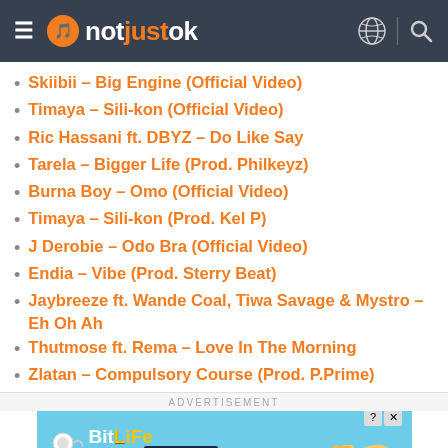notjustok
Skiibii – Big Engine (Official Video)
Timaya – Sili-kon (Official Video)
Ric Hassani ft. DBYZ – Do Like Say
Tarela – Bigger Life (Prod. Philkeyz)
Burna Boy – Omo (Official Video)
Timaya – Sili-kon (Prod. Kel P)
J Derobie – Odo Bra (Official Video)
Endia – Vibe (Prod. Sterry Beat)
Jaybreeze ft. Wande Coal, Tiwa Savage & Mystro – Eh Oh Ah
Thutmose ft. Rema – Love In The Morning
Zlatan – Compulsory Course (Prod. P.Prime)
Zlatan – Scopatumana (Prod. Kiddominant)
[Figure (screenshot): BitLife advertisement banner - NOW WITH GOD MODE]